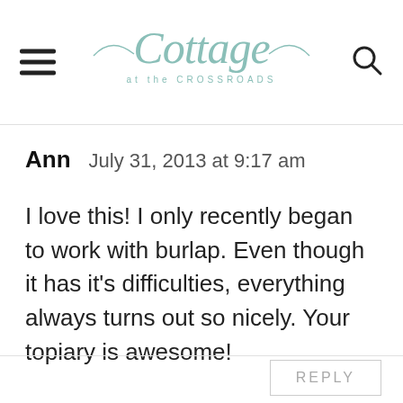Cottage at the Crossroads
Ann   July 31, 2013 at 9:17 am
I love this! I only recently began to work with burlap. Even though it has it's difficulties, everything always turns out so nicely. Your topiary is awesome!